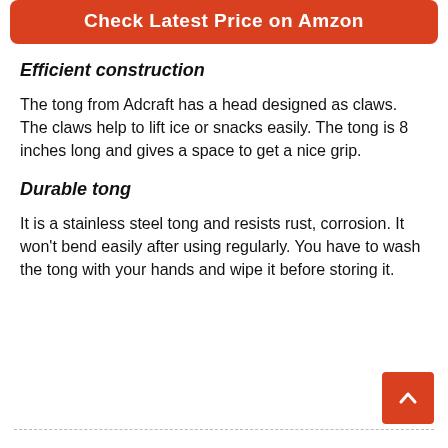[Figure (other): Red rounded button with white text 'Check Latest Price on Amzon']
Efficient construction
The tong from Adcraft has a head designed as claws. The claws help to lift ice or snacks easily. The tong is 8 inches long and gives a space to get a nice grip.
Durable tong
It is a stainless steel tong and resists rust, corrosion. It won't bend easily after using regularly. You have to wash the tong with your hands and wipe it before storing it.